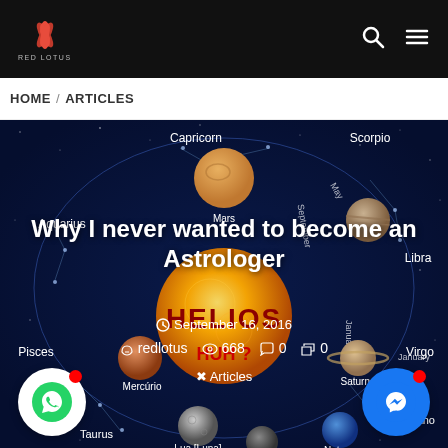RED LOTUS
HOME / ARTICLES
Why I never wanted to become an Astrologer
September 16, 2016
redlotus  668  0  0
Articles
[Figure (illustration): Astrological solar system diagram with planets labeled with zodiac signs (Capricorn, Scorpio, Libra, Virgo, Urano, Saturno, Pisces, Aquarius) and planet names (Mars, Mercúrio, Lua [Luna], Pluto, Netuno, Taurus, January). Central large sun with HELIOS text and HUH? below it. Dark navy blue background.]